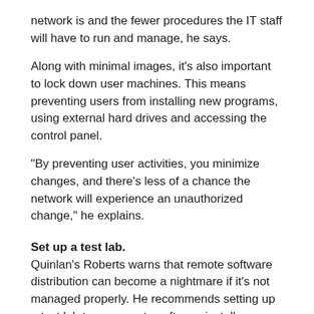network is and the fewer procedures the IT staff will have to run and manage, he says.
Along with minimal images, it's also important to lock down user machines. This means preventing users from installing new programs, using external hard drives and accessing the control panel.
"By preventing user activities, you minimize changes, and there's less of a chance the network will experience an unauthorized change," he explains.
Set up a test lab.
Quinlan's Roberts warns that remote software distribution can become a nightmare if it's not managed properly. He recommends setting up a test lab to run remote software installs.
"The last thing you want to do is blast an install through your